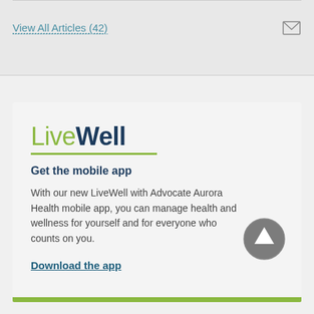View All Articles (42)
[Figure (other): Mail/envelope icon]
LiveWell
Get the mobile app
With our new LiveWell with Advocate Aurora Health mobile app, you can manage health and wellness for yourself and for everyone who counts on you.
Download the app